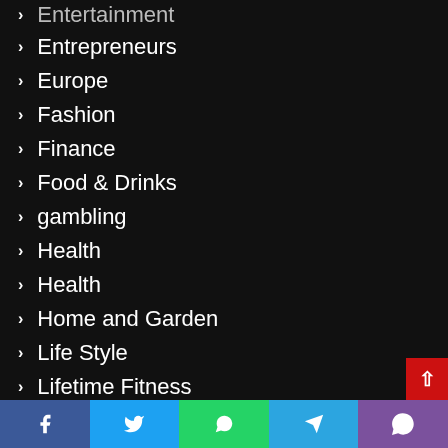Entertainment
Entrepreneurs
Europe
Fashion
Finance
Food & Drinks
gambling
Health
Health
Home and Garden
Life Style
Lifetime Fitness
MLB